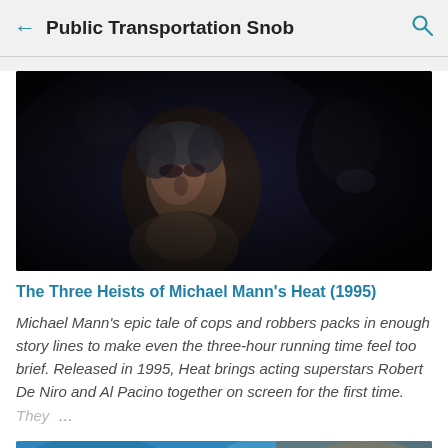← Public Transportation Snob 🔍
[Figure (photo): Dark movie still showing a man with grey hair looking intensely at someone out of frame, in a dimly lit scene.]
The Three Heists of Michael Mann's Heat (1995)
Michael Mann's epic tale of cops and robbers packs in enough story lines to make even the three-hour running time feel too brief. Released in 1995, Heat brings acting superstars Robert De Niro and Al Pacino together on screen for the first time. They …
[Figure (photo): Partial view of another article's thumbnail image, showing blue and brown tones, partially cropped at bottom of screen.]